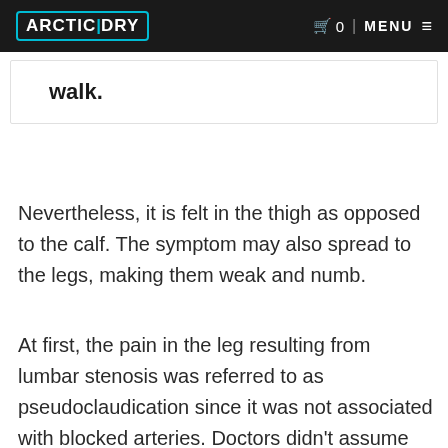ARCTIC DRY | 0 | MENU
walk.
Nevertheless, it is felt in the thigh as opposed to the calf. The symptom may also spread to the legs, making them weak and numb.
At first, the pain in the leg resulting from lumbar stenosis was referred to as pseudoclaudication since it was not associated with blocked arteries. Doctors didn't assume that it could be caused by